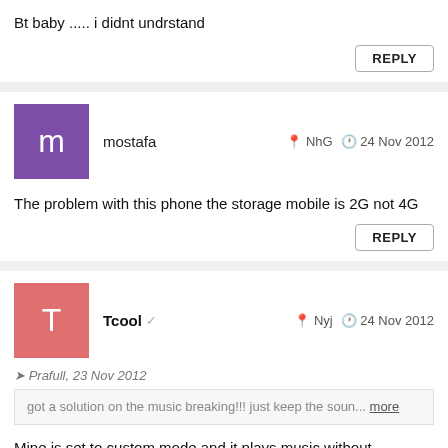Bt baby ..... i didnt undrstand
REPLY
mostafa   NhG   24 Nov 2012
The problem with this phone the storage mobile is 2G not 4G
REPLY
Tcool   Nyj   24 Nov 2012
Prafull, 23 Nov 2012
got a solution on the music breaking!!! just keep the soun... more
Mine is set to custom mode and it plays music without interruptions.